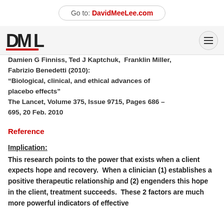Go to: DavidMeeLee.com
Damien G Finniss, Ted J Kaptchuk, Franklin Miller, Fabrizio Benedetti (2010): “Biological, clinical, and ethical advances of placebo effects” The Lancet, Volume 375, Issue 9715, Pages 686 – 695, 20 Feb. 2010
Reference
Implication:
This research points to the power that exists when a client expects hope and recovery.  When a clinician (1) establishes a positive therapeutic relationship and (2) engenders this hope in the client, treatment succeeds.  These 2 factors are much more powerful indicators of effective